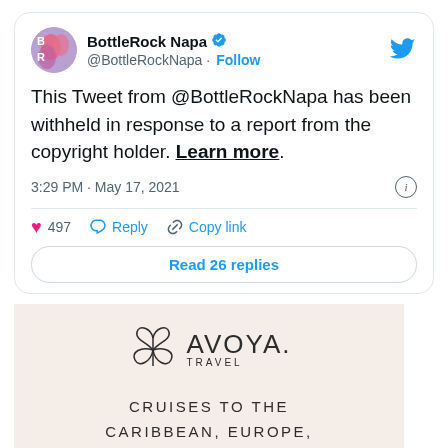[Figure (screenshot): Twitter/X embedded tweet card from BottleRock Napa (@BottleRockNapa) with avatar, verified badge, follow button, withheld tweet message, timestamp, like/reply/copy link actions, and Read 26 replies button]
This Tweet from @BottleRockNapa has been withheld in response to a report from the copyright holder. Learn more.
3:29 PM · May 17, 2021
497  Reply  Copy link
Read 26 replies
[Figure (illustration): Avoya Travel advertisement on pink/beige background with butterfly leaf logo, AVOYA. TRAVEL wordmark, and text: CRUISES TO THE CARIBBEAN, EUROPE, AND BEYOND]